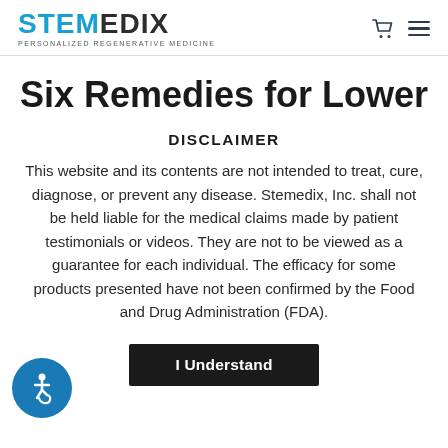STEMEDIX — PERSONALIZED REGENERATIVE MEDICINE
Six Remedies for Lower
DISCLAIMER
This website and its contents are not intended to treat, cure, diagnose, or prevent any disease. Stemedix, Inc. shall not be held liable for the medical claims made by patient testimonials or videos. They are not to be viewed as a guarantee for each individual. The efficacy for some products presented have not been confirmed by the Food and Drug Administration (FDA).
I Understand